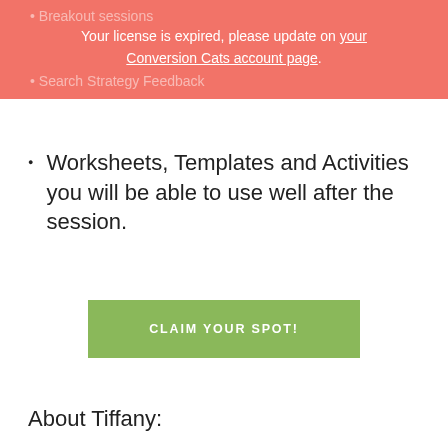Breakout sessions
Your license is expired, please update on your Conversion Cats account page.
Search Strategy Feedback
Worksheets, Templates and Activities you will be able to use well after the session.
CLAIM YOUR SPOT!
About Tiffany: